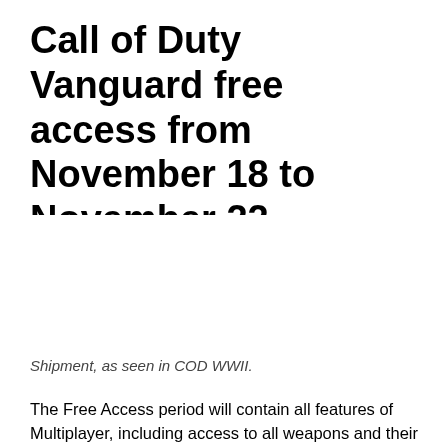Call of Duty Vanguard free access from November 18 to November 22
[Figure (photo): Shipment map as seen in COD WWII — large whitespace placeholder area]
Shipment, as seen in COD WWII.
The Free Access period will contain all features of Multiplayer, including access to all weapons and their